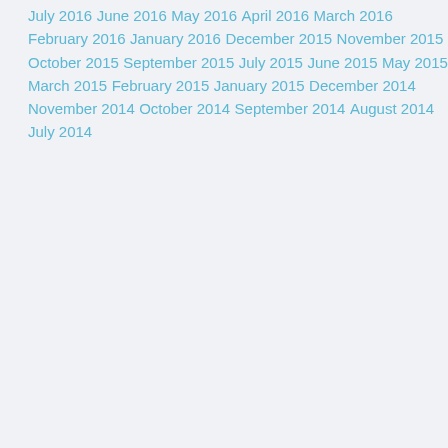July 2016
June 2016
May 2016
April 2016
March 2016
February 2016
January 2016
December 2015
November 2015
October 2015
September 2015
July 2015
June 2015
May 2015
March 2015
February 2015
January 2015
December 2014
November 2014
October 2014
September 2014
August 2014
July 2014